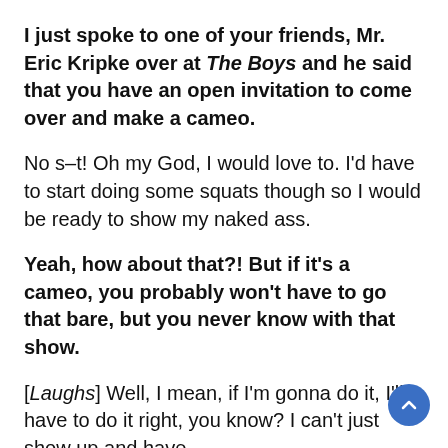I just spoke to one of your friends, Mr. Eric Kripke over at The Boys and he said that you have an open invitation to come over and make a cameo.
No s–t! Oh my God, I would love to. I'd have to start doing some squats though so I would be ready to show my naked ass.
Yeah, how about that?! But if it's a cameo, you probably won't have to go that bare, but you never know with that show.
[Laughs] Well, I mean, if I'm gonna do it, I'll have to do it right, you know? I can't just show up and have